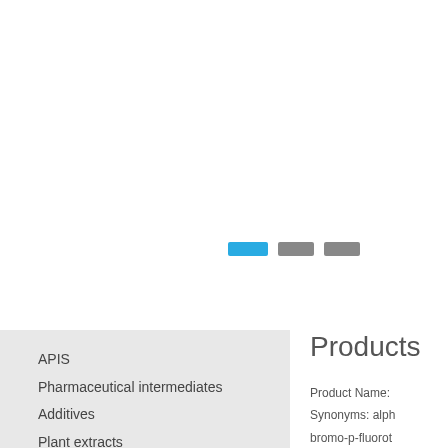[Figure (other): Navigation pagination dots: one blue rectangle and two gray rectangles]
APIS
Pharmaceutical intermediates
Additives
Plant extracts
Dye and intermediates
Vitamin
Amino acid
Other chemicals
Products
Product Name:
Synonyms: alph
bromo-p-fluorot
CAS No.: 459-4
EINECS: 207-2
Molecular Form